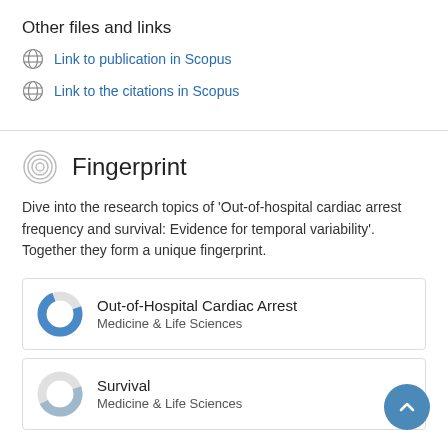Other files and links
Link to publication in Scopus
Link to the citations in Scopus
Fingerprint
Dive into the research topics of 'Out-of-hospital cardiac arrest frequency and survival: Evidence for temporal variability'. Together they form a unique fingerprint.
Out-of-Hospital Cardiac Arrest
Medicine & Life Sciences
Survival
Medicine & Life Sciences